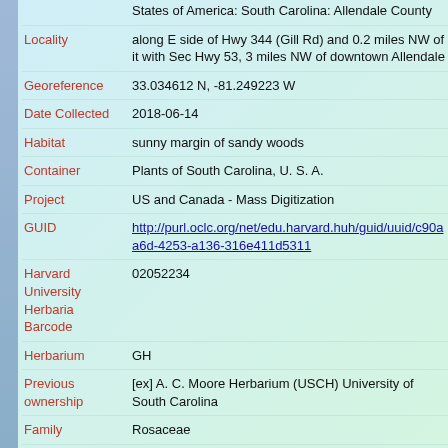States of America: South Carolina: Allendale County
Locality: along E side of Hwy 344 (Gill Rd) and 0.2 miles NW of it with Sec Hwy 53, 3 miles NW of downtown Allendale
Georeference: 33.034612 N, -81.249223 W
Date Collected: 2018-06-14
Habitat: sunny margin of sandy woods
Container: Plants of South Carolina, U. S. A.
Project: US and Canada - Mass Digitization
GUID: http://purl.oclc.org/net/edu.harvard.huh/guid/uuid/c90aa6d-4253-a136-316e411d5311
Harvard University Herbaria Barcode: 02052234
Herbarium: GH
Previous ownership: [ex] A. C. Moore Herbarium (USCH) University of South Carolina
Family: Rosaceae
Determination: Crataegus senta Beadle
Determination Remarks: [is filed under name] [is Current name]
Sex: not determined